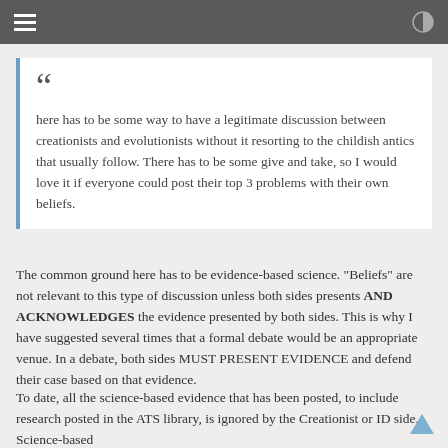here has to be some way to have a legitimate discussion between creationists and evolutionists without it resorting to the childish antics that usually follow. There has to be some give and take, so I would love it if everyone could post their top 3 problems with their own beliefs.
The common ground here has to be evidence-based science. "Beliefs" are not relevant to this type of discussion unless both sides presents AND ACKNOWLEDGES the evidence presented by both sides. This is why I have suggested several times that a formal debate would be an appropriate venue. In a debate, both sides MUST PRESENT EVIDENCE and defend their case based on that evidence.
To date, all the science-based evidence that has been posted, to include research posted in the ATS library, is ignored by the Creationist or ID side. Science-based